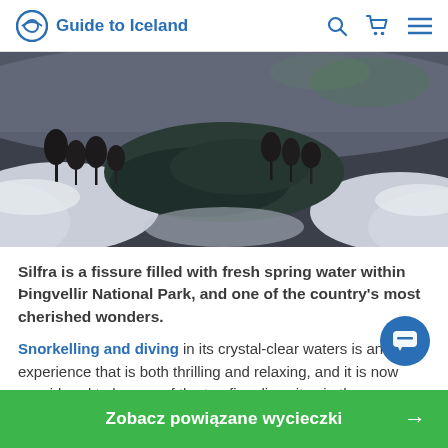Guide to Iceland
[Figure (photo): Aerial winter view of Silfra fissure at Þingvellir National Park, Iceland, showing dark water surrounded by snow-covered landscape and bare trees]
Silfra is a fissure filled with fresh spring water within Þingvellir National Park, and one of the country's most cherished wonders.
Snorkelling and diving in its crystal-clear waters is an experience that is both thrilling and relaxing, and it is now considered to be one of the top five dive sites in the
Zobacz powiązane wycieczki →